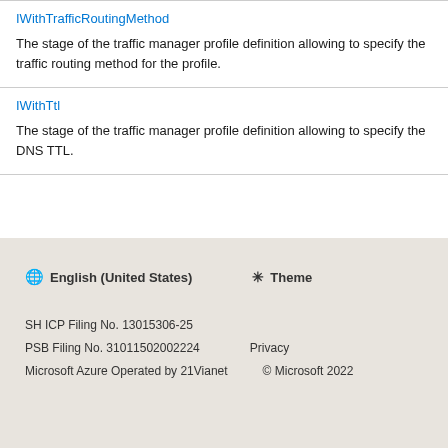| IWithTrafficRoutingMethod | The stage of the traffic manager profile definition allowing to specify the traffic routing method for the profile. |
| IWithTtl | The stage of the traffic manager profile definition allowing to specify the DNS TTL. |
🌐 English (United States)  ☀ Theme
SH ICP Filing No. 13015306-25
PSB Filing No. 31011502002224   Privacy
Microsoft Azure Operated by 21Vianet   © Microsoft 2022